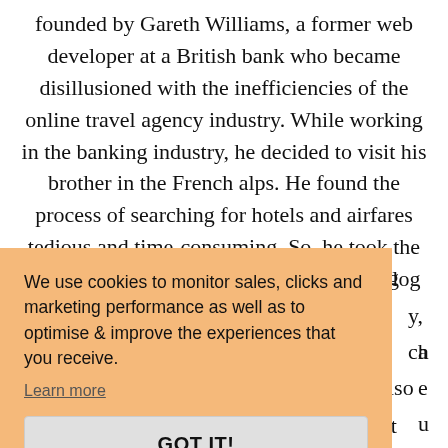founded by Gareth Williams, a former web developer at a British bank who became disillusioned with the inefficiencies of the online travel agency industry. While working in the banking industry, he decided to visit his brother in the French alps. He found the process of searching for hotels and airfares tedious and time-consuming. So, he took the decision to build an Excel spreadsheet to log
We use cookies to monitor sales, clicks and marketing performance as well as to optimise & improve the experiences that you receive.
Learn more
GOT IT!
click on them. Its global reach makes it